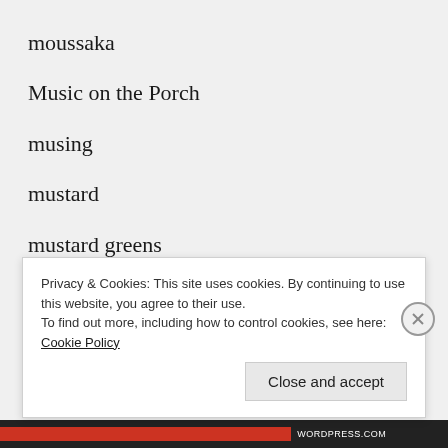moussaka
Music on the Porch
musing
mustard
mustard greens
nappa cabbage
NCRS high tunnel cost share
Privacy & Cookies: This site uses cookies. By continuing to use this website, you agree to their use.
To find out more, including how to control cookies, see here: Cookie Policy
Close and accept